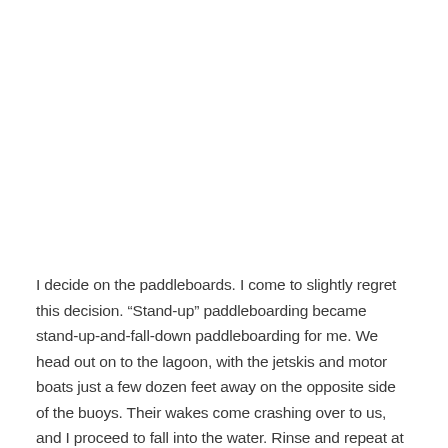I decide on the paddleboards. I come to slightly regret this decision. “Stand-up” paddleboarding became stand-up-and-fall-down paddleboarding for me. We head out on to the lagoon, with the jetskis and motor boats just a few dozen feet away on the opposite side of the buoys. Their wakes come crashing over to us, and I proceed to fall into the water. Rinse and repeat at least ten more times over the next hour and a half. About halfway through we stop